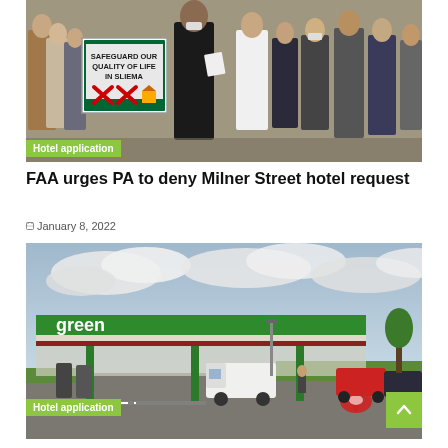[Figure (photo): Outdoor protest scene with people holding a sign reading 'SAFEGUARD OUR QUALITY OF LIFE IN SLIEMA' with red X marks; a man in black speaks in the center holding papers; others stand around him.]
Hotel application
FAA urges PA to deny Milner Street hotel request
January 8, 2022
[Figure (photo): A green petrol/gas station canopy with 'green' branding, a white van and other vehicles, a red map pin marker overlaid on the image, and a road/roundabout in the background under a cloudy sky.]
Hotel application